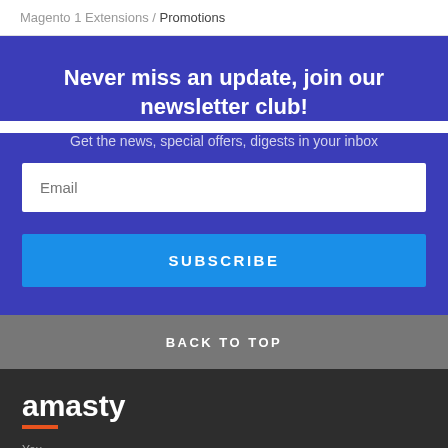Magento 1 Extensions / Promotions
Never miss an update, join our newsletter club!
Get the news, special offers, digests in your inbox
Email
SUBSCRIBE
BACK TO TOP
[Figure (logo): Amasty logo in white text with orange underline on dark background]
You